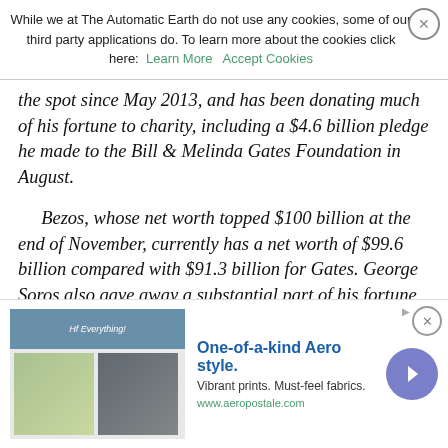While we at The Automatic Earth do not use any cookies, some of our third party applications do. To learn more about the cookies click here: Learn More  Accept Cookies
the spot since May 2013, and has been donating much of his fortune to charity, including a $4.6 billion pledge he made to the Bill & Melinda Gates Foundation in August.
Bezos, whose net worth topped $100 billion at the end of November, currently has a net worth of $99.6 billion compared with $91.3 billion for Gates. George Soros also gave away a substantial part of his fortune, revealing in October that his family office had given $18 billion to his Open Society Foundations over the past several years, dropping the billionaire investor to No. 195 on the Bloomberg ranking, with a net worth of $8 billion. By the end of trading Tuesday, Dec. 26, the 500 billionaires controlled $5.3 trillion, up from $4.4 trillion on Dec. 27, 2016. "It's part of the second-most robust and second-longest bull market in history," said Mike Ryan, chief investment officer for the Americas at UBS Wealth Management, on
[Figure (screenshot): Advertisement banner for Aeropostale: One-of-a-kind Aero style. Vibrant prints. Must-feel fabrics. www.aeropostale.com]